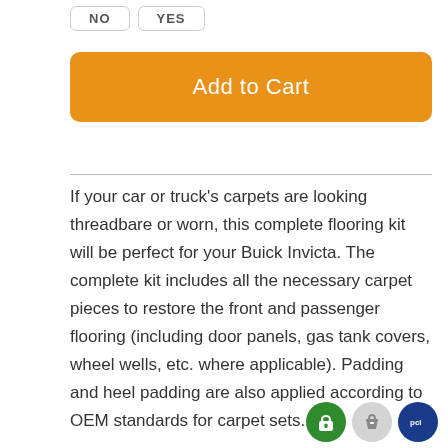[Figure (other): NO and YES toggle buttons at top]
[Figure (other): Orange Add to Cart button]
If your car or truck's carpets are looking threadbare or worn, this complete flooring kit will be perfect for your Buick Invicta. The complete kit includes all the necessary carpet pieces to restore the front and passenger flooring (including door panels, gas tank covers, wheel wells, etc. where applicable). Padding and heel padding are also applied according to OEM standards for carpet sets.
[Figure (logo): Three trust/security badge icons: green lock badge, Shopify bag badge, PCI compliance badge]